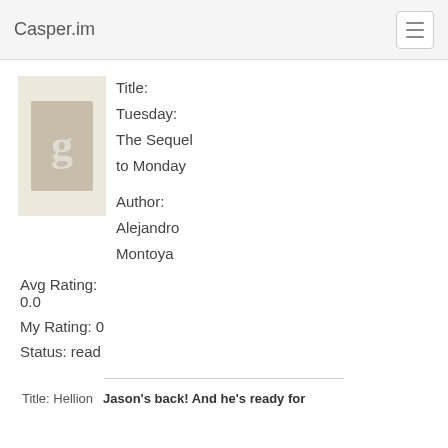Casper.im
Title: Tuesday: The Sequel to Monday
Author: Alejandro Montoya
Avg Rating: 0.0
My Rating: 0
Status: read
Title: Hellion
Jason's back! And he's ready for